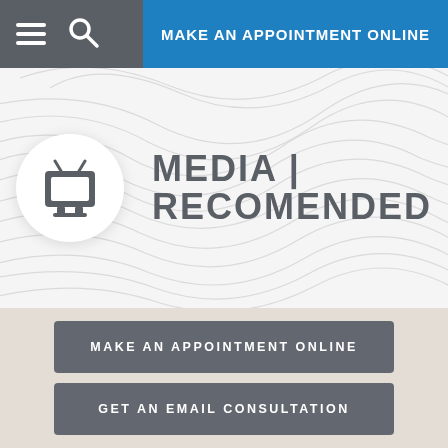MAKE AN APPOINTMENT ONLINE
[Figure (illustration): Hero section with topographic map background, TV icon in white circle, and text MEDIA | RECOMENDED]
MAKE AN APPOINTMENT ONLINE
GET AN EMAIL CONSULTATION